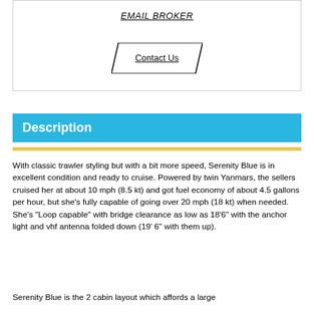EMAIL BROKER
Contact Us
Description
With classic trawler styling but with a bit more speed, Serenity Blue is in excellent condition and ready to cruise. Powered by twin Yanmars, the sellers cruised her at about 10 mph (8.5 kt) and got fuel economy of about 4.5 gallons per hour, but she’s fully capable of going over 20 mph (18 kt) when needed. She’s “Loop capable” with bridge clearance as low as 18’6” with the anchor light and vhf antenna folded down (19’ 6” with them up).
Serenity Blue is the 2 cabin layout which affords a large